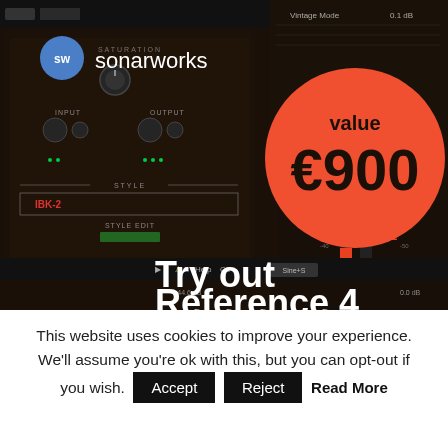[Figure (screenshot): Sonarworks audio plugin software screenshot showing saturation plugin UI with knobs, style selector, and a red circular badge showing 'value €900'. Text 'Try out Reference 4' visible at bottom. Sonarworks logo (SW in blue circle) and 'sonarworks' text in top left.]
This website uses cookies to improve your experience. We'll assume you're ok with this, but you can opt-out if you wish.
Accept
Reject
Read More